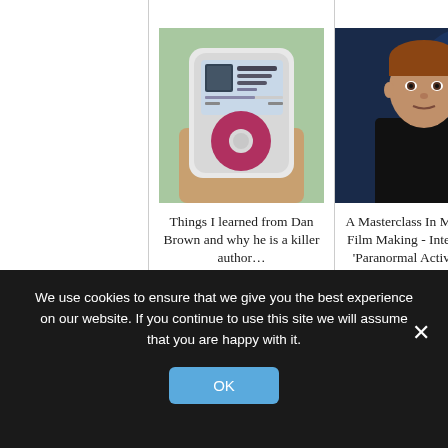[Figure (photo): Photo of an iPod/MP3 player being held in a hand, showing a music track on screen]
Things I learned from Dan Brown and why he is a killer author…
[Figure (photo): Photo of a man in a dark shirt against a blue-lit background, related to Paranormal Activity film]
A Masterclass In Microbudget Film Making - Interview with 'Paranormal Activity' writer and...
We use cookies to ensure that we give you the best experience on our website. If you continue to use this site we will assume that you are happy with it.